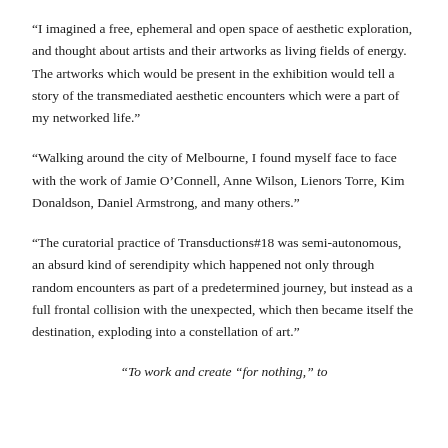“I imagined a free, ephemeral and open space of aesthetic exploration, and thought about artists and their artworks as living fields of energy. The artworks which would be present in the exhibition would tell a story of the transmediated aesthetic encounters which were a part of my networked life.”
“Walking around the city of Melbourne, I found myself face to face with the work of Jamie O’Connell, Anne Wilson, Lienors Torre, Kim Donaldson, Daniel Armstrong, and many others.”
“The curatorial practice of Transductions#18 was semi-autonomous, an absurd kind of serendipity which happened not only through random encounters as part of a predetermined journey, but instead as a full frontal collision with the unexpected, which then became itself the destination, exploding into a constellation of art.”
“To work and create “for nothing,” to